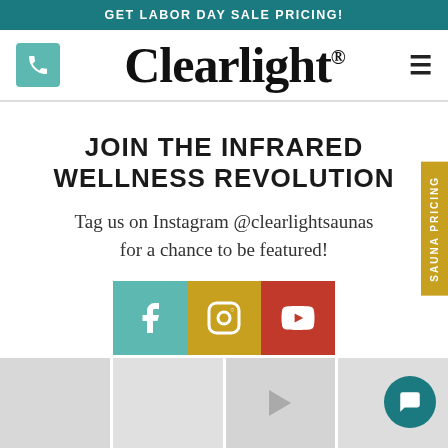GET LABOR DAY SALE PRICING!
[Figure (logo): Clearlight logo with phone icon and hamburger menu]
JOIN THE INFRARED WELLNESS REVOLUTION
Tag us on Instagram @clearlightsaunas for a chance to be featured!
[Figure (infographic): Social media icons: Facebook (teal), Instagram (gold), YouTube (red)]
[Figure (screenshot): Bottom grid of four image thumbnails with a play button on the third; side tab reading SAUNA PRICING; chat bubble icon]